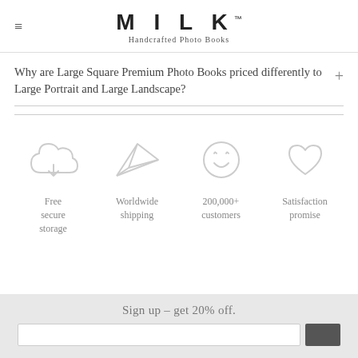MILK™ Handcrafted Photo Books
Why are Large Square Premium Photo Books priced differently to Large Portrait and Large Landscape?
[Figure (infographic): Four feature icons in a row: cloud (Free secure storage), paper plane (Worldwide shipping), smiley face (200,000+ customers), heart (Satisfaction promise)]
Free secure storage
Worldwide shipping
200,000+ customers
Satisfaction promise
Sign up – get 20% off.